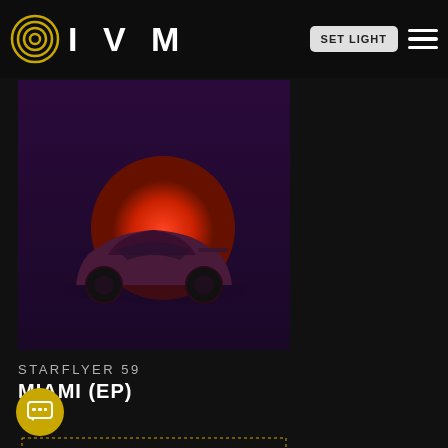IVM | SET LIGHT
[Figure (illustration): Album cover art for Starflyer 59 Miami EP: dark purple background with a sports car silhouette in front of a large red/orange sun]
STARFLYER 59
MIAMI (EP)
[Figure (illustration): Partial album cover art showing a sun with flames and text 'WIDE AWAKE' with ornate border design]